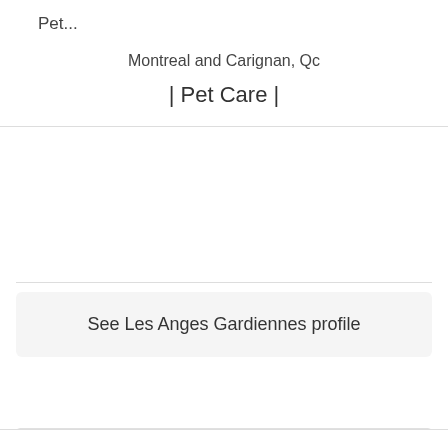Pet...
Montreal and Carignan, Qc
| Pet Care |
See Les Anges Gardiennes profile
[Figure (logo): Extermination MARK-X logo. Black background with white text 'Extermination' at top, large orange text 'MARK-X' in center, and white small-caps text 'Marc Pilon, Gestion parasitaire' at bottom.]